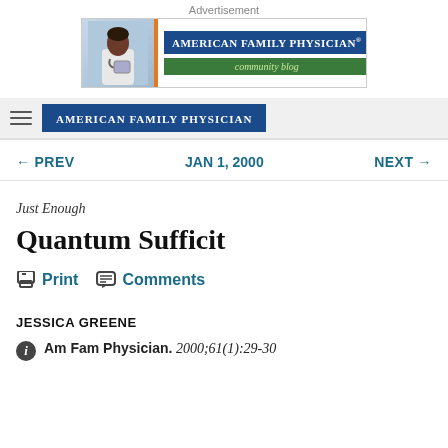Advertisement
[Figure (logo): American Family Physician community blog advertisement banner with doctor photo]
AMERICAN FAMILY PHYSICIAN
← PREV   JAN 1, 2000   NEXT →
Just Enough
Quantum Sufficit
Print   Comments
JESSICA GREENE
Am Fam Physician. 2000;61(1):29-30